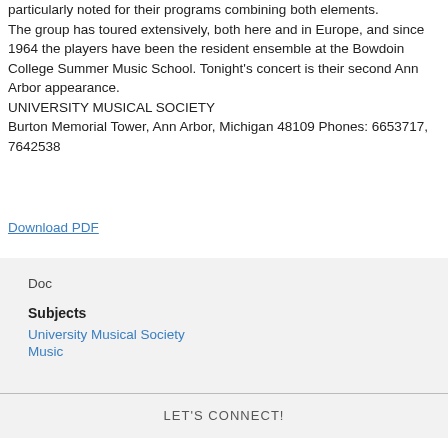particularly noted for their programs combining both elements. The group has toured extensively, both here and in Europe, and since 1964 the players have been the resident ensemble at the Bowdoin College Summer Music School. Tonight's concert is their second Ann Arbor appearance. UNIVERSITY MUSICAL SOCIETY Burton Memorial Tower, Ann Arbor, Michigan 48109 Phones: 6653717, 7642538
Download PDF
Doc
Subjects
University Musical Society
Music
LET'S CONNECT!